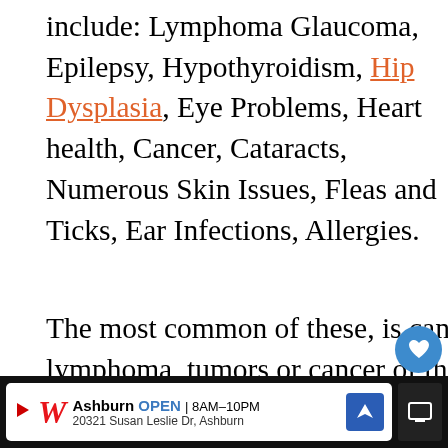include: Lymphoma Glaucoma, Epilepsy, Hypothyroidism, Hip Dysplasia, Eye Problems, Heart health, Cancer, Cataracts, Numerous Skin Issues, Fleas and Ticks, Ear Infections, Allergies.
The most common of these, is cancer. This can be in the form of lymphoma, tumors or cancer of the blood. If your Golden Retriever is diagnosed with cancer, you will likely have to start the treatments.
[Figure (screenshot): UI overlay showing heart/like button with count 2 and share button]
[Figure (screenshot): What's Next panel showing golden retriever thumbnail with text 'The Top 5 Prize-winnin...']
[Figure (screenshot): Walgreens advertisement bar showing store location: Ashburn, OPEN 8AM-10PM, 20321 Susan Leslie Dr, Ashburn]